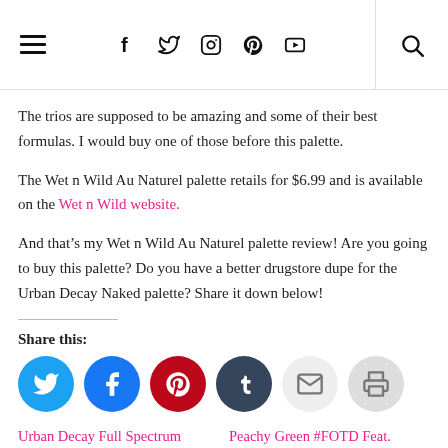Navigation bar with hamburger menu, social icons (Facebook, Twitter, Instagram, Pinterest, YouTube), and search icon
The trios are supposed to be amazing and some of their best formulas. I would buy one of those before this palette.
The Wet n Wild Au Naturel palette retails for $6.99 and is available on the Wet n Wild website.
And that’s my Wet n Wild Au Naturel palette review! Are you going to buy this palette? Do you have a better drugstore dupe for the Urban Decay Naked palette? Share it down below!
Share this:
[Figure (infographic): Row of circular social share buttons: Twitter (blue), Facebook (blue), Pinterest (red), Tumblr (dark navy), Email (light grey), Print (light grey)]
Urban Decay Full Spectrum Palette
Peachy Green #FOTD Feat.